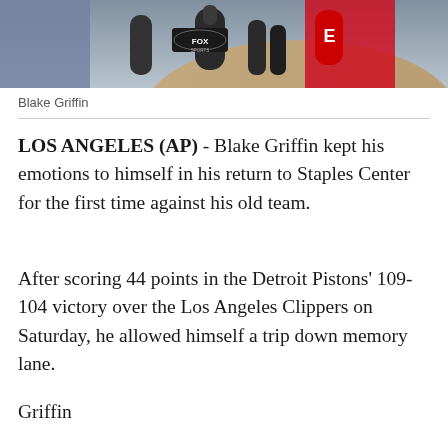[Figure (photo): Press conference scene with microphones including Fox Sports and ESPN logos held in front of a person (Blake Griffin)]
Blake Griffin
LOS ANGELES (AP) - Blake Griffin kept his emotions to himself in his return to Staples Center for the first time against his old team.
After scoring 44 points in the Detroit Pistons' 109-104 victory over the Los Angeles Clippers on Saturday, he allowed himself a trip down memory lane.
"The best thing to be a part of is something that is bigger than yourself and that is what that was," he said in a crowded hallway outside the Pistons' locker room. "I don't look at what I did."
Griffin...